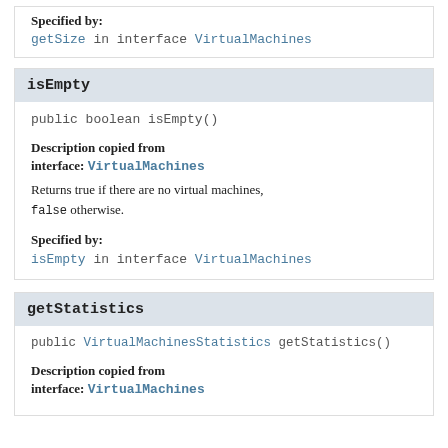Specified by:
getSize in interface VirtualMachines
isEmpty
public boolean isEmpty()
Description copied from interface: VirtualMachines
Returns true if there are no virtual machines, false otherwise.
Specified by:
isEmpty in interface VirtualMachines
getStatistics
public VirtualMachinesStatistics getStatistics()
Description copied from interface: VirtualMachines